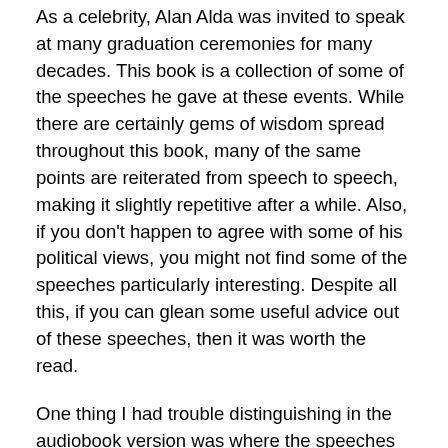As a celebrity, Alan Alda was invited to speak at many graduation ceremonies for many decades. This book is a collection of some of the speeches he gave at these events. While there are certainly gems of wisdom spread throughout this book, many of the same points are reiterated from speech to speech, making it slightly repetitive after a while. Also, if you don't happen to agree with some of his political views, you might not find some of the speeches particularly interesting. Despite all this, if you can glean some useful advice out of these speeches, then it was worth the read.
One thing I had trouble distinguishing in the audiobook version was where the speeches started and ended and where Alda's reflections and asides started. I would occasionally notice an echo in the recording, which likely